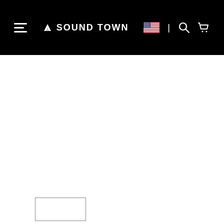Sound Town navigation bar with hamburger menu, logo, flag, search and cart icons
[Figure (screenshot): A small rectangular outlined box at lower left of page, partially visible]